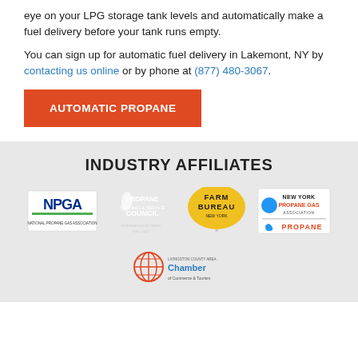eye on your LPG storage tank levels and automatically make a fuel delivery before your tank runs empty.
You can sign up for automatic fuel delivery in Lakemont, NY by contacting us online or by phone at (877) 480-3067.
AUTOMATIC PROPANE
INDUSTRY AFFILIATES
[Figure (logo): Row of industry affiliate logos: NPGA (National Propane Gas Association), Propane Training & Service Council, Farm Bureau New York, New York Propane Gas Association / Propane]
[Figure (logo): Livingston County Area Chamber of Commerce & Tourism logo]